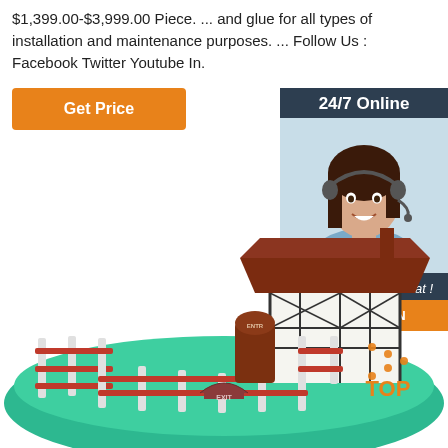$1,399.00-$3,999.00 Piece. ... and glue for all types of installation and maintenance purposes. ... Follow Us : Facebook Twitter Youtube In.
Get Price
24/7 Online
[Figure (photo): Woman with headset smiling, customer service agent]
Click here for free chat !
QUOTATION
[Figure (illustration): 3D illustration of a miniature horse stable/paddock with fencing, entry and exit gates on a green base]
TOP